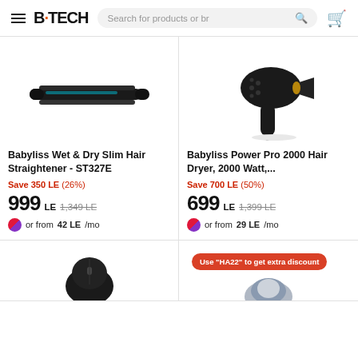B·TECH — Search for products or br
[Figure (photo): Babyliss black hair straightener flat iron (ST327E), slender design on white background]
Babyliss Wet & Dry Slim Hair Straightener - ST327E
Save 350 LE (26%)
999 LE  1,349 LE
or from 42 LE/mo
[Figure (photo): Babyliss Power Pro 2000 black hair dryer with gold accent, on white background]
Babyliss Power Pro 2000 Hair Dryer, 2000 Watt,...
Save 700 LE (50%)
699 LE  1,399 LE
or from 29 LE/mo
[Figure (photo): Black computer mouse partially visible at bottom left]
[Figure (photo): Product partially visible at bottom right with discount badge]
Use "HA22" to get extra discount